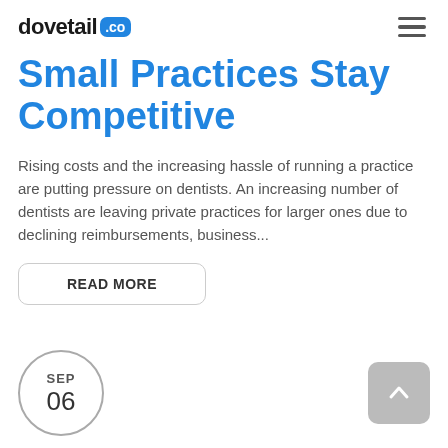dovetail .co
Small Practices Stay Competitive
Rising costs and the increasing hassle of running a practice are putting pressure on dentists. An increasing number of dentists are leaving private practices for larger ones due to declining reimbursements, business...
READ MORE
SEP 06